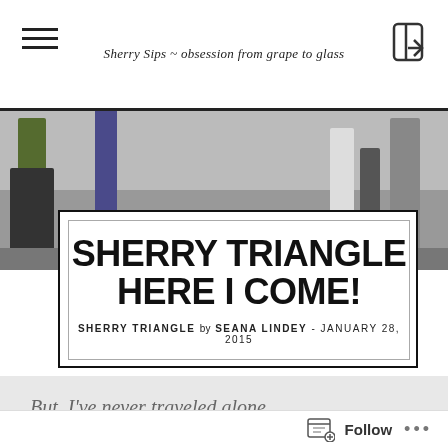Sherry Sips ~ obsession from grape to glass
[Figure (photo): Top photo strip showing people standing, partial view of legs and torsos against a stone wall background]
SHERRY TRIANGLE HERE I COME!
SHERRY TRIANGLE by SEANA LINDEY - JANUARY 28, 2015
[Figure (photo): Bottom photo showing handwritten text 'But, I've never traveled alone...' on a light background]
Follow ...